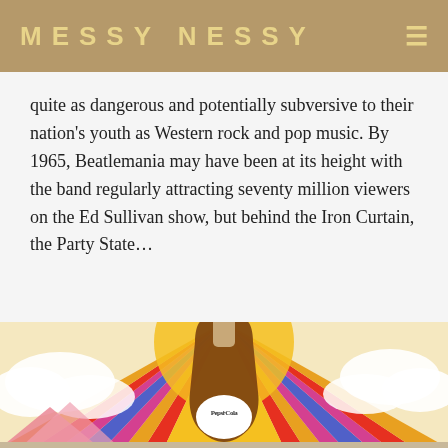MESSY NESSY
quite as dangerous and potentially subversive to their nation's youth as Western rock and pop music. By 1965, Beatlemania may have been at its height with the band regularly attracting seventy million viewers on the Ed Sullivan show, but behind the Iron Curtain, the Party State…
[Figure (illustration): Colorful psychedelic pop art illustration of a Pepsi-Cola bottle held up against a vibrant sunburst background with rainbow rays, clouds, and mountains in bright reds, oranges, yellows, purples, and blues.]